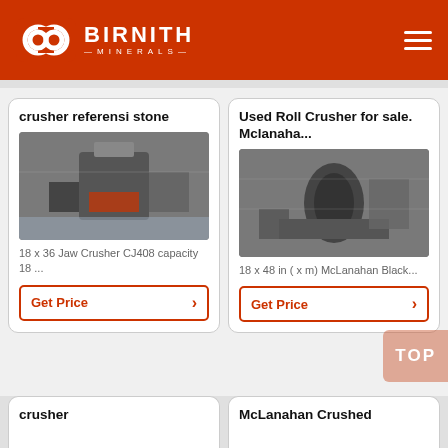BIRNITH MINERALS
crusher referensi stone
[Figure (photo): Industrial jaw crusher machine in a factory setting]
18 x 36 Jaw Crusher CJ408 capacity 18 ...
Get Price
Used Roll Crusher for sale. Mclanaha...
[Figure (photo): Large roll crusher machine in a mining facility]
18 x 48 in ( x m) McLanahan Black...
Get Price
crusher
McLanahan Crushed